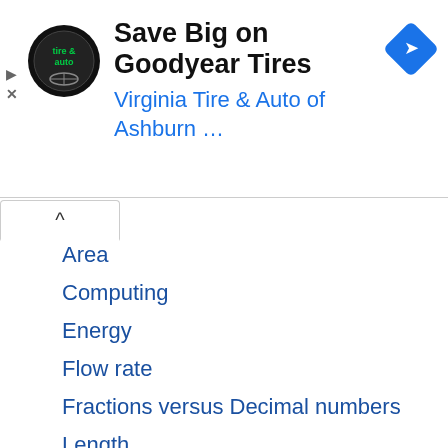[Figure (screenshot): Advertisement banner: Save Big on Goodyear Tires - Virginia Tire & Auto of Ashburn with logo and navigation icon]
Area
Computing
Energy
Flow rate
Fractions versus Decimal numbers
Length
Metric
Percentage
Power